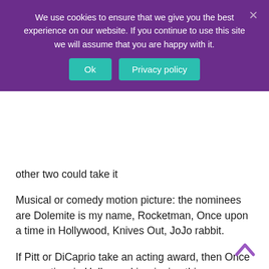We use cookies to ensure that we give you the best experience on our website. If you continue to use this site we will assume that you are happy with it.
Ok | Privacy policy
other two could take it
Musical or comedy motion picture: the nominees are Dolemite is my name, Rocketman, Once upon a time in Hollywood, Knives Out, JoJo rabbit.
If Pitt or DiCaprio take an acting award, then Once upon a time in Hollywood is winning this.
Foreign language film: Portrait of a lady on fire, The Farewell, Les Miserables, Parasite, Pain and Glory.
Parasite is taking this.
Director of a motion picture: the nominees are